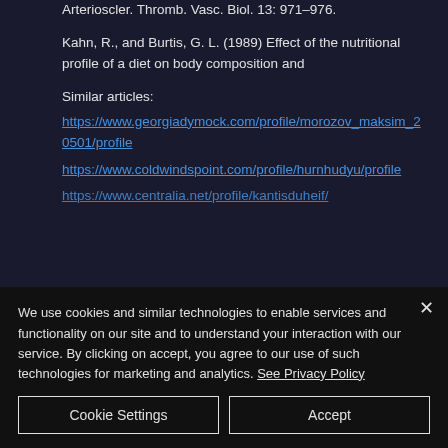Arterioscler. Thromb. Vasc. Biol. 13: 971–976.
Kahn, R., and Burtis, G. L. (1989) Effect of the nutritional profile of a diet on body composition and
Similar articles:
https://www.georgiadymock.com/profile/morozov_maksim_20501/profile
https://www.coldwindspoint.com/profile/hurnhudyu/profile
https://www.centralia.net/profile/kantisduheif/
We use cookies and similar technologies to enable services and functionality on our site and to understand your interaction with our service. By clicking on accept, you agree to our use of such technologies for marketing and analytics. See Privacy Policy
Cookie Settings
Accept